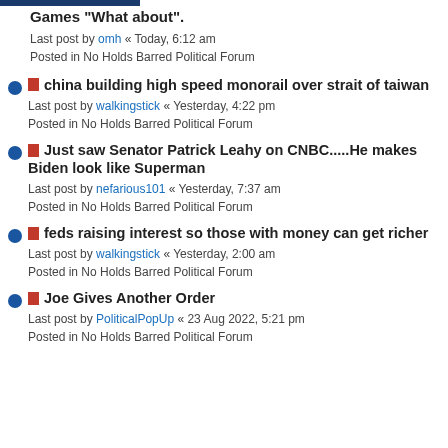Games "What about".
Last post by omh « Today, 6:12 am
Posted in No Holds Barred Political Forum
china building high speed monorail over strait of taiwan
Last post by walkingstick « Yesterday, 4:22 pm
Posted in No Holds Barred Political Forum
Just saw Senator Patrick Leahy on CNBC.....He makes Biden look like Superman
Last post by nefarious101 « Yesterday, 7:37 am
Posted in No Holds Barred Political Forum
feds raising interest so those with money can get richer
Last post by walkingstick « Yesterday, 2:00 am
Posted in No Holds Barred Political Forum
Joe Gives Another Order
Last post by PoliticalPopUp « 23 Aug 2022, 5:21 pm
Posted in No Holds Barred Political Forum